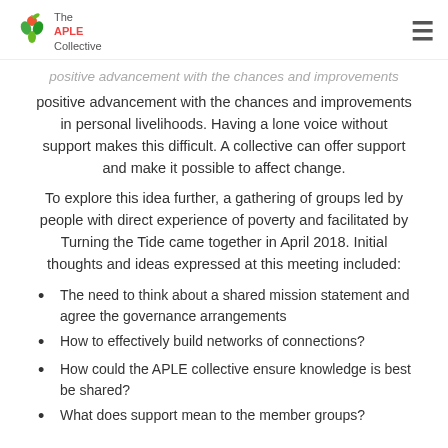The APLE Collective
positive advancement with the chances and improvements in personal livelihoods. Having a lone voice without support makes this difficult. A collective can offer support and make it possible to affect change.
To explore this idea further, a gathering of groups led by people with direct experience of poverty and facilitated by Turning the Tide came together in April 2018. Initial thoughts and ideas expressed at this meeting included:
The need to think about a shared mission statement and agree the governance arrangements
How to effectively build networks of connections?
How could the APLE collective ensure knowledge is best be shared?
What does support mean to the member groups?